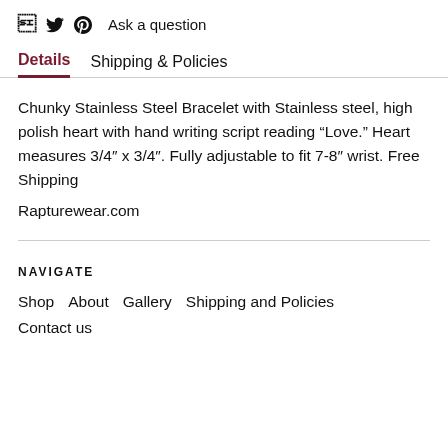f  𝑦  𝑝  Ask a question
Details   Shipping & Policies
Chunky Stainless Steel Bracelet with Stainless steel, high polish heart with hand writing script reading “Love.” Heart measures 3/4″ x 3/4″. Fully adjustable to fit 7-8″ wrist. Free Shipping
Rapturewear.com
NAVIGATE
Shop   About   Gallery   Shipping and Policies
Contact us